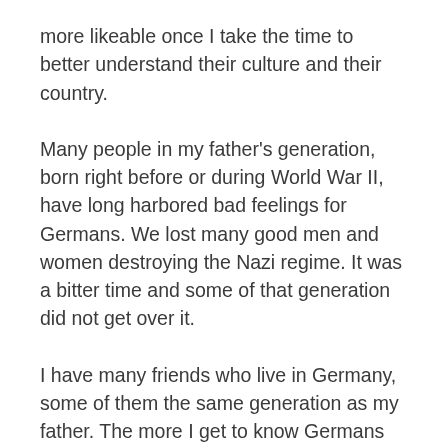more likeable once I take the time to better understand their culture and their country.
Many people in my father's generation, born right before or during World War II, have long harbored bad feelings for Germans. We lost many good men and women destroying the Nazi regime. It was a bitter time and some of that generation did not get over it.
I have many friends who live in Germany, some of them the same generation as my father. The more I get to know Germans the more I love their culture. The more I love their ability to turn from evil and rebuild a country that stands for freedom, much like we believe America stands for freedom. I have slept in their houses as their guest. I have eaten with them, drank beer at their table. I have gone to church with them. My friendship with Germans has enriched my